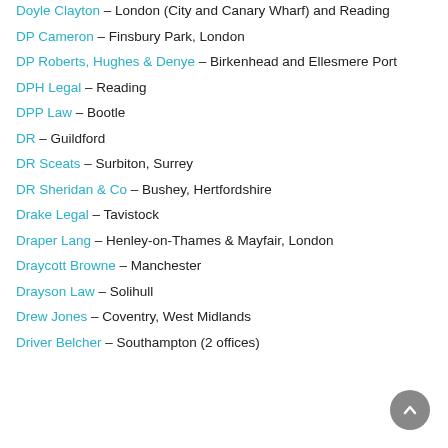Doyle Clayton – London (City and Canary Wharf) and Reading
DP Cameron – Finsbury Park, London
DP Roberts, Hughes & Denye – Birkenhead and Ellesmere Port
DPH Legal – Reading
DPP Law – Bootle
DR – Guildford
DR Sceats – Surbiton, Surrey
DR Sheridan & Co – Bushey, Hertfordshire
Drake Legal – Tavistock
Draper Lang – Henley-on-Thames & Mayfair, London
Draycott Browne – Manchester
Drayson Law – Solihull
Drew Jones – Coventry, West Midlands
Driver Belcher – Southampton (2 offices)